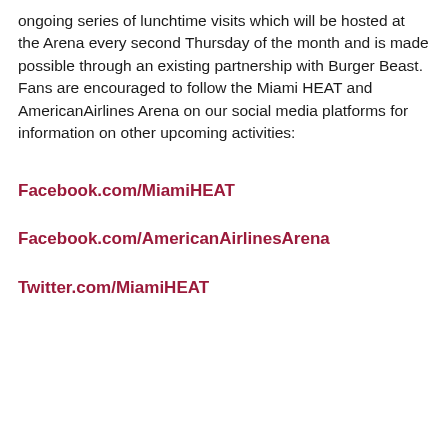ongoing series of lunchtime visits which will be hosted at the Arena every second Thursday of the month and is made possible through an existing partnership with Burger Beast. Fans are encouraged to follow the Miami HEAT and AmericanAirlines Arena on our social media platforms for information on other upcoming activities:
Facebook.com/MiamiHEAT
Facebook.com/AmericanAirlinesArena
Twitter.com/MiamiHEAT